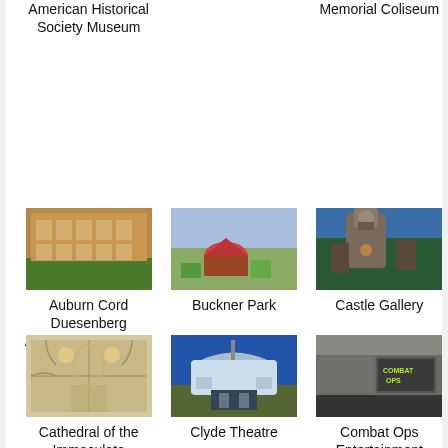American Historical Society Museum
Memorial Coliseum
[Figure (photo): Auburn Cord Duesenberg Automobile Museum building exterior]
Auburn Cord Duesenberg Automobile Museum
[Figure (photo): Buckner Park aerial view]
Buckner Park
[Figure (photo): Castle Gallery stone tower]
Castle Gallery
[Figure (photo): Cathedral of the Immaculate Conception interior]
Cathedral of the Immaculate Conception
[Figure (photo): Clyde Theatre exterior with marquee]
Clyde Theatre
[Figure (photo): Combat Ops Entertainment building exterior with signage]
Combat Ops Entertainment